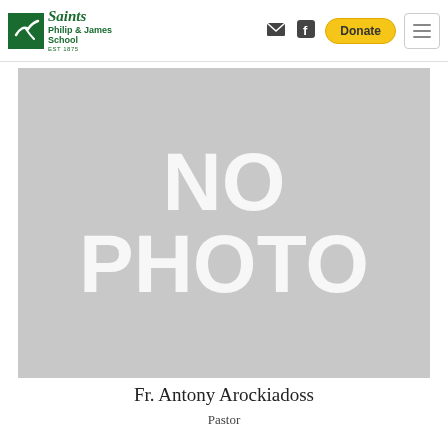[Figure (logo): Saints Philip & James School logo with green box and school name EST 1875]
[Figure (photo): No photo placeholder image — grey rectangle with white text reading NO PHOTO]
Fr. Antony Arockiadoss
Pastor